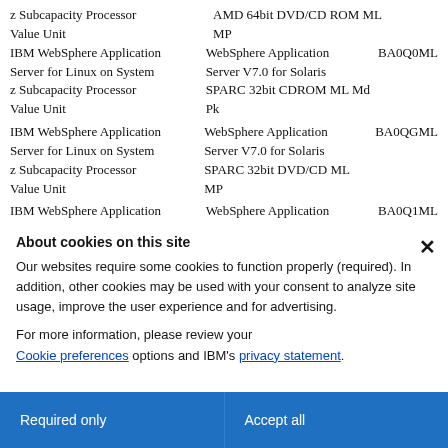| Product | Description | Part Number |
| --- | --- | --- |
| IBM WebSphere Application Server for Linux on System z Subcapacity Processor Value Unit | AMD 64bit DVD/CD ROM ML MP |  |
| IBM WebSphere Application Server for Linux on System z Subcapacity Processor Value Unit | WebSphere Application Server V7.0 for Solaris SPARC 32bit CDROM ML Md Pk | BA0Q0ML |
| IBM WebSphere Application Server for Linux on System z Subcapacity Processor Value Unit | WebSphere Application Server V7.0 for Solaris SPARC 32bit DVD/CD ML MP | BA0QGML |
| IBM WebSphere Application Server for Linux on System z Subcapacity Processor Value Unit | WebSphere Application Server V7.0 for Solaris | BA0Q1ML |
About cookies on this site
Our websites require some cookies to function properly (required). In addition, other cookies may be used with your consent to analyze site usage, improve the user experience and for advertising.
For more information, please review your Cookie preferences options and IBM's privacy statement.
Required only
Accept all